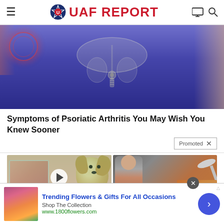UAF REPORT
[Figure (photo): Close-up photo of person wearing blue/purple leggings with an anatomical X-ray hip joint overlay and red pain indicator circles on the left side]
Symptoms of Psoriatic Arthritis You May Wish You Knew Sooner
Promoted X
[Figure (photo): Two thumbnail images side by side: left shows raw ground meat tray with a golden retriever dog behind it and a video play button overlay; right shows a fit woman and a spoon of spice/seasoning]
Trending Flowers & Gifts For All Occasions
Shop The Collection
www.1800flowers.com